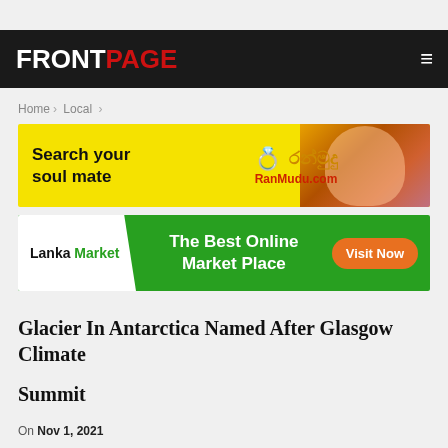FRONTPAGE
Home > Local >
[Figure (photo): RanMudu.com advertisement banner with yellow background, gold rings, Sinhala text, and a woman in traditional attire. Text: Search your soul mate, RanMudu.com]
[Figure (photo): Lanka Market advertisement banner with green background, white logo panel, text: The Best Online Market Place, Visit Now button]
Glacier In Antarctica Named After Glasgow Climate Summit
On Nov 1, 2021